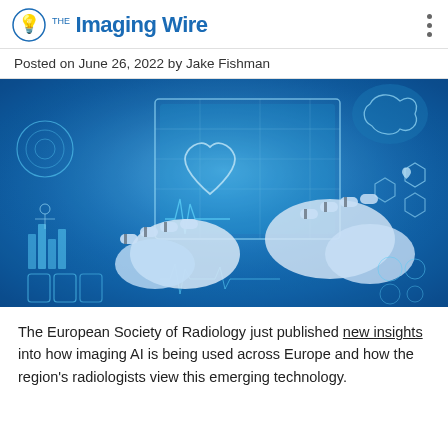The Imaging Wire
Posted on June 26, 2022 by Jake Fishman
[Figure (photo): Robotic hands interacting with a glowing blue digital medical interface displaying health icons, charts, and medical imagery]
The European Society of Radiology just published new insights into how imaging AI is being used across Europe and how the region's radiologists view this emerging technology.